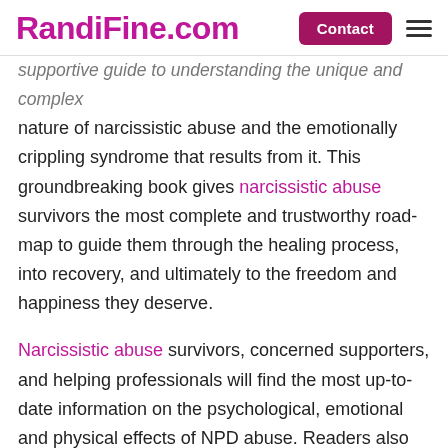RandiFine.com | Contact
supportive guide to understanding the unique and complex nature of narcissistic abuse and the emotionally crippling syndrome that results from it. This groundbreaking book gives narcissistic abuse survivors the most complete and trustworthy road-map to guide them through the healing process, into recovery, and ultimately to the freedom and happiness they deserve.
Narcissistic abuse survivors, concerned supporters, and helping professionals will find the most up-to-date information on the psychological, emotional and physical effects of NPD abuse. Readers also learn how narcissistic abuse infiltrates various settings including work, family-of-origin, friendships, and romantic relationships.